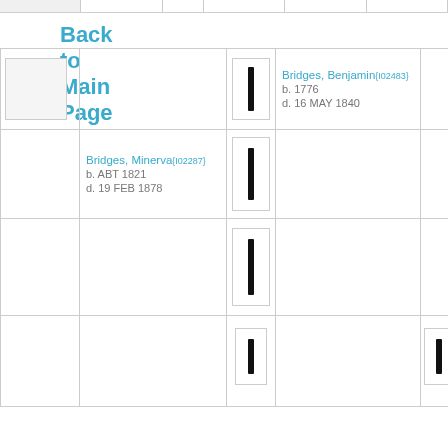Back to Main Page
| [image] |  | [connector] | Bridges, Benjamin{I02483}
b. 1776
d. 16 MAY 1840 |  |  |
|  | Bridges, Minerva{I02287}
b. ABT 1821
d. 19 FEB 1878 | [connector] |  |  |  |
|  |  | [connector] |  |  |  |
|  |  | [connector] |  | [connector] | Elli...
Ben...
Tuc...
b. ...
174... |